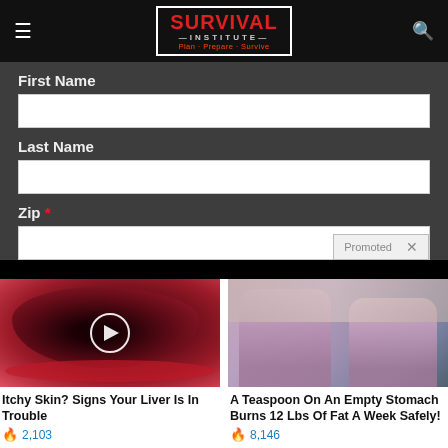SURVIVAL INSTITUTE — Plan · Prepare · Survive
First Name
Last Name
Zip *
Promoted
[Figure (photo): Food photo showing sliced dark red beets on a red plate with a video play button overlay]
Itchy Skin? Signs Your Liver Is In Trouble
🔥 2,103
[Figure (photo): Photo of two women in pink pajamas sitting on a couch]
A Teaspoon On An Empty Stomach Burns 12 Lbs Of Fat A Week Safely!
🔥 8,146